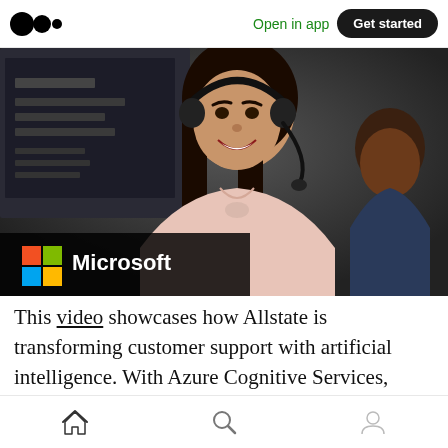Open in app  Get started
[Figure (photo): A smiling woman wearing a headset in a call center / customer support setting. In the lower-left corner of the image is the Microsoft logo (four colored squares: red, green, blue, yellow) followed by the word 'Microsoft' in white text on a dark background.]
This video showcases how Allstate is transforming customer support with artificial intelligence. With Azure Cognitive Services, Allstate is capturing insights from customer calls
Home  Search  Profile